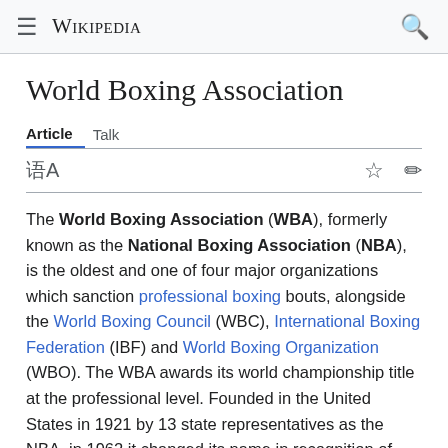≡ WIKIPEDIA 🔍
World Boxing Association
Article   Talk
The World Boxing Association (WBA), formerly known as the National Boxing Association (NBA), is the oldest and one of four major organizations which sanction professional boxing bouts, alongside the World Boxing Council (WBC), International Boxing Federation (IBF) and World Boxing Organization (WBO). The WBA awards its world championship title at the professional level. Founded in the United States in 1921 by 13 state representatives as the NBA, in 1962 it changed its name in recognition of